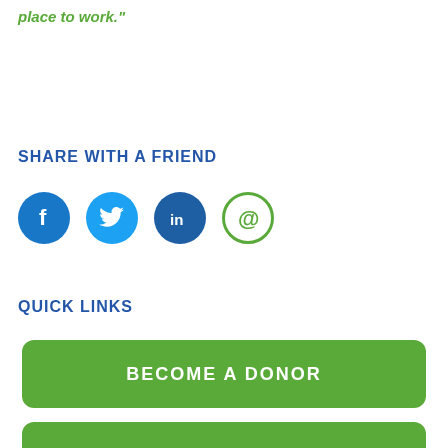place to work."
SHARE WITH A FRIEND
[Figure (infographic): Four social sharing icons: Facebook (blue circle with f), Twitter (blue circle with bird), LinkedIn (dark blue circle with in), Email (green circle outline with @ symbol)]
QUICK LINKS
BECOME A DONOR
MAKE A CONTRIBUTION